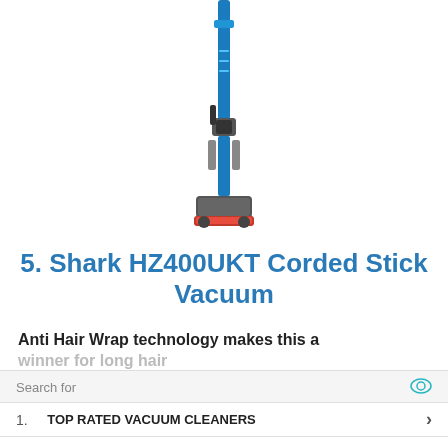[Figure (illustration): Blue and grey Shark HZ400UKT corded stick vacuum cleaner standing upright, shown from front view]
5. Shark HZ400UKT Corded Stick Vacuum
Anti Hair Wrap technology makes this a winner for long hair
Search for
1. TOP RATED VACUUM CLEANERS
2. BEST VACUUM CLEANERS FOR PET